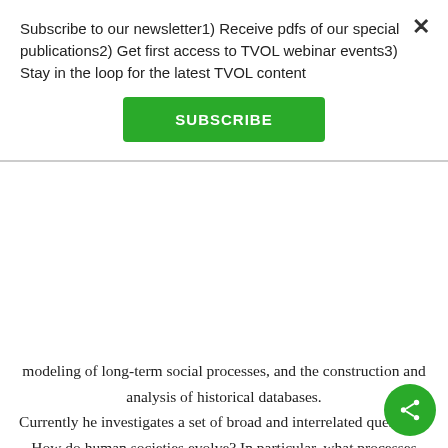Subscribe to our newsletter1) Receive pdfs of our special publications2) Get first access to TVOL webinar events3) Stay in the loop for the latest TVOL content
SUBSCRIBE
modeling of long-term social processes, and the construction and analysis of historical databases. Currently he investigates a set of broad and interrelated questions. How do human societies evolve? In particular, what processes explain the evolution of ultrasociality—our capacity to cooperate in huge anonymous societies of millions? Why do we see such a staggering degree of inequality in economic performance and effectiveness of governance among nations? Turchin uses the theoretical framework of